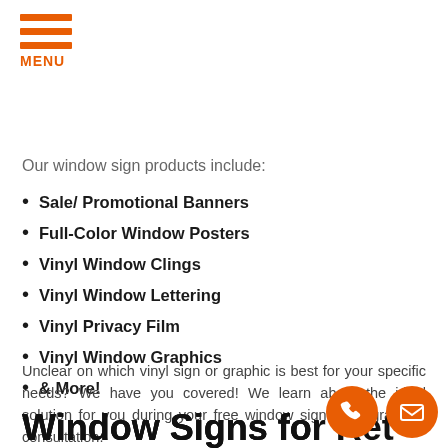MENU
Our window sign products include:
Sale/ Promotional Banners
Full-Color Window Posters
Vinyl Window Clings
Vinyl Window Lettering
Vinyl Privacy Film
Vinyl Window Graphics
& More!
Unclear on which vinyl sign or graphic is best for your specific needs? We have you covered! We learn about the ideal solution for you during your free window signs and graphics consultation.
Window Signs for Retail